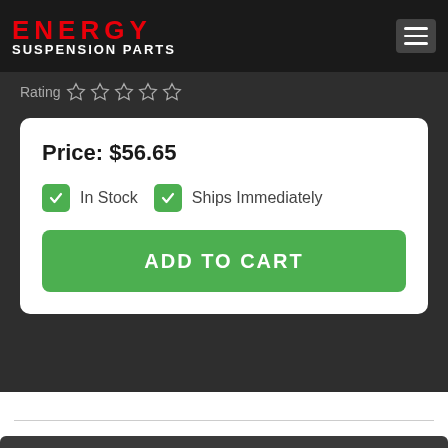[Figure (logo): Energy Suspension Parts logo with red ENERGY text and white SUSPENSION PARTS below]
Rating ☆ ☆ ☆ ☆ ☆
Price: $56.65
✓ In Stock  ✓ Ships Immediately
ADD TO CART